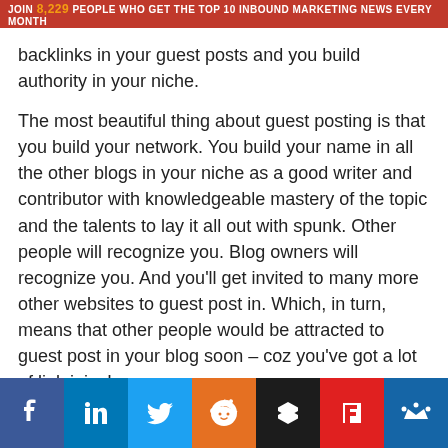JOIN 8,229 PEOPLE WHO GET THE TOP 10 INBOUND MARKETING NEWS EVERY MONTH
backlinks in your guest posts and you build authority in your niche.
The most beautiful thing about guest posting is that you build your network. You build your name in all the other blogs in your niche as a good writer and contributor with knowledgeable mastery of the topic and the talents to lay it all out with spunk. Other people will recognize you. Blog owners will recognize you. And you'll get invited to many more other websites to guest post in. Which, in turn, means that other people would be attracted to guest post in your blog soon – coz you've got a lot of link juice!
Infographics
[Figure (other): Social media share bar with icons for Facebook, LinkedIn, Twitter, Reddit, Buffer, Flipboard, and Missinglettr]